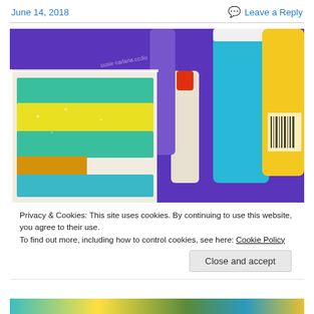June 14, 2018
Leave a Reply
[Figure (photo): Photo of acrylic paint tubes and a painted canvas with yellow, teal, and green brush strokes in a white tray]
Privacy & Cookies: This site uses cookies. By continuing to use this website, you agree to their use.
To find out more, including how to control cookies, see here: Cookie Policy
Close and accept